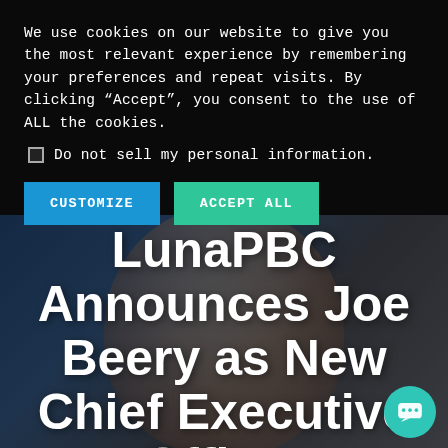We use cookies on our website to give you the most relevant experience by remembering your preferences and repeat visits. By clicking “Accept”, you consent to the use of ALL the cookies.
Do not sell my personal information.
CUSTOMIZE
ACCEPT ALL
LunaPBC Announces Joe Beery as New Chief Executive Officer
[Figure (photo): Close-up photo of a smiling man (Joe Beery) behind the large white title text, with a dark blue and grey background]